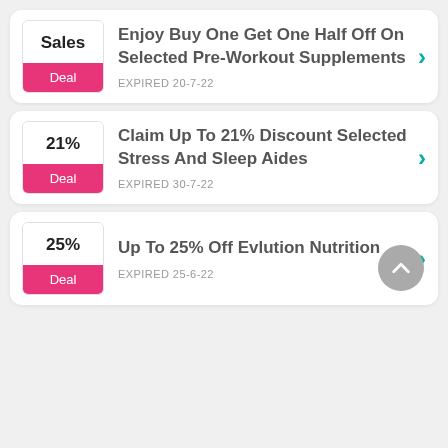Enjoy Buy One Get One Half Off On Selected Pre-Workout Supplements — EXPIRED 20-7-22
Claim Up To 21% Discount Selected Stress And Sleep Aides — EXPIRED 30-7-22
Up To 25% Off Evlution Nutrition — EXPIRED 25-6-22